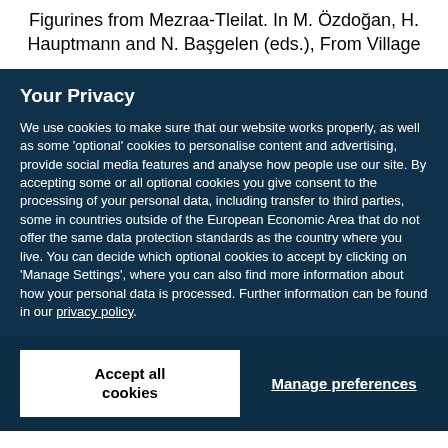Figurines from Mezraa-Tleilat. In M. Özdoğan, H. Hauptmann and N. Başgelen (eds.), From Village
Your Privacy
We use cookies to make sure that our website works properly, as well as some 'optional' cookies to personalise content and advertising, provide social media features and analyse how people use our site. By accepting some or all optional cookies you give consent to the processing of your personal data, including transfer to third parties, some in countries outside of the European Economic Area that do not offer the same data protection standards as the country where you live. You can decide which optional cookies to accept by clicking on 'Manage Settings', where you can also find more information about how your personal data is processed. Further information can be found in our privacy policy.
Accept all cookies
Manage preferences